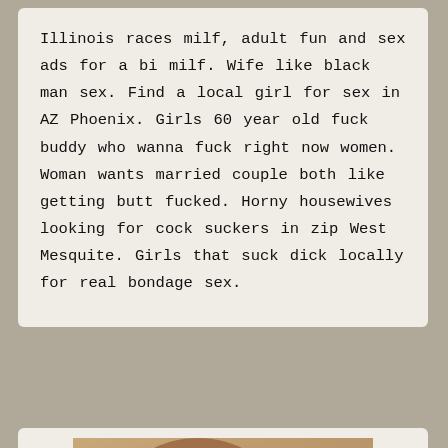Illinois races milf, adult fun and sex ads for a bi milf. Wife like black man sex. Find a local girl for sex in AZ Phoenix. Girls 60 year old fuck buddy who wanna fuck right now women. Woman wants married couple both like getting butt fucked. Horny housewives looking for cock suckers in zip West Mesquite. Girls that suck dick locally for real bondage sex.
[Figure (photo): A woman with shoulder-length reddish-brown hair photographed from the chest up, indoors. Watermark text reads 'permeti-ione.com'.]